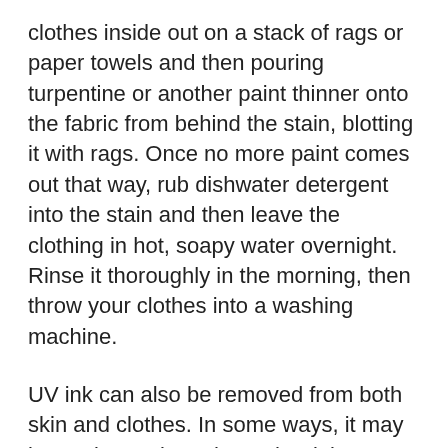clothes inside out on a stack of rags or paper towels and then pouring turpentine or another paint thinner onto the fabric from behind the stain, blotting it with rags. Once no more paint comes out that way, rub dishwater detergent into the stain and then leave the clothing in hot, soapy water overnight. Rinse it thoroughly in the morning, then throw your clothes into a washing machine.
UV ink can also be removed from both skin and clothes. In some ways, it may be easier to clean than other inks because it doesn't really dry except under UV light (we are unsure if the UV light in sunlight will cause it to dry). Most UV ink appears to be alcohol-soluble, so using rubbing alcohol or even hairspray should help remove it from skin. Other recommendations we have seen include washing